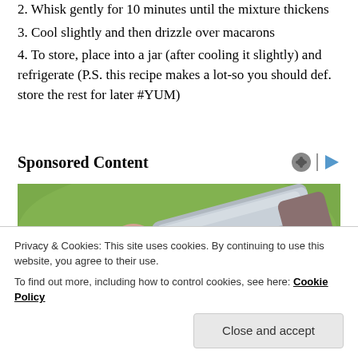2. Whisk gently for 10 minutes until the mixture thickens
3. Cool slightly and then drizzle over macarons
4. To store, place into a jar (after cooling it slightly) and refrigerate (P.S. this recipe makes a lot-so you should def. store the rest for later #YUM)
Sponsored Content
[Figure (photo): A hand holding a silver tube or pen-like object against a green outdoor background.]
Privacy & Cookies: This site uses cookies. By continuing to use this website, you agree to their use.
To find out more, including how to control cookies, see here: Cookie Policy
Close and accept